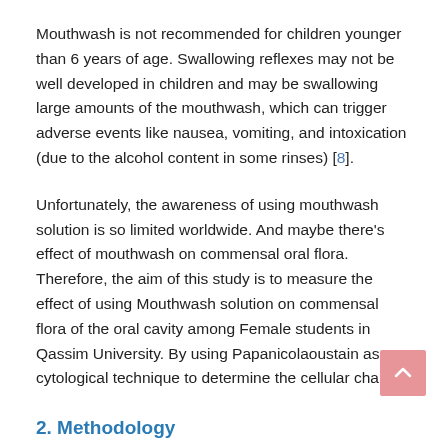Mouthwash is not recommended for children younger than 6 years of age. Swallowing reflexes may not be well developed in children and may be swallowing large amounts of the mouthwash, which can trigger adverse events like nausea, vomiting, and intoxication (due to the alcohol content in some rinses) [8].
Unfortunately, the awareness of using mouthwash solution is so limited worldwide. And maybe there's effect of mouthwash on commensal oral flora. Therefore, the aim of this study is to measure the effect of using Mouthwash solution on commensal flora of the oral cavity among Female students in Qassim University. By using Papanicolaoustain as a cytological technique to determine the cellular change.
2. Methodology